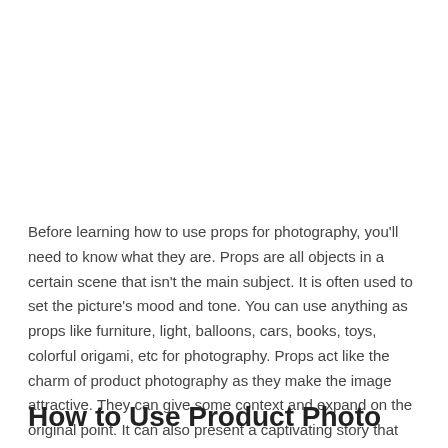Before learning how to use props for photography, you'll need to know what they are. Props are all objects in a certain scene that isn't the main subject. It is often used to set the picture's mood and tone. You can use anything as props like furniture, light, balloons, cars, books, toys, colorful origami, etc for photography. Props act like the charm of product photography as they make the image attractive. They can give some context and expand on the original point. It can also present a captivating story that entices buyers to buy a product.
How to Use Product Photo graphy...